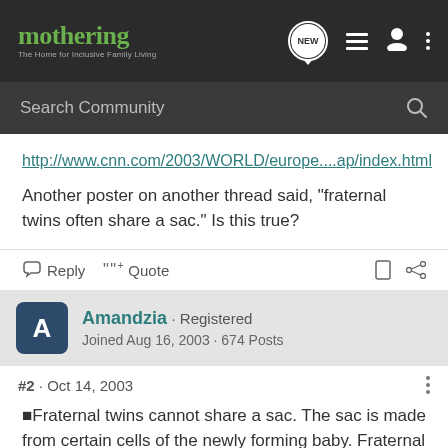mothering · The Home for Inclusive Family Living
http://www.cnn.com/2003/WORLD/europe....ap/index.html
Another poster on another thread said, "fraternal twins often share a sac." Is this true?
Reply  Quote
Amandzia · Registered
Joined Aug 16, 2003 · 674 Posts
#2 · Oct 14, 2003
Fraternal twins cannot share a sac. The sac is made from certain cells of the newly forming baby. Fraternal twins were